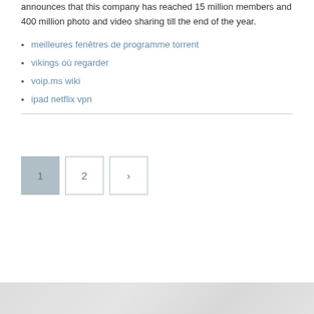announces that this company has reached 15 million members and 400 million photo and video sharing till the end of the year.
meilleures fenêtres de programme torrent
vikings où regarder
voip.ms wiki
ipad netflix vpn
[Figure (other): Pagination controls showing page 1 (active/highlighted), page 2, and a next arrow button]
[Figure (photo): Bottom image strip showing a light grey/white textured surface]